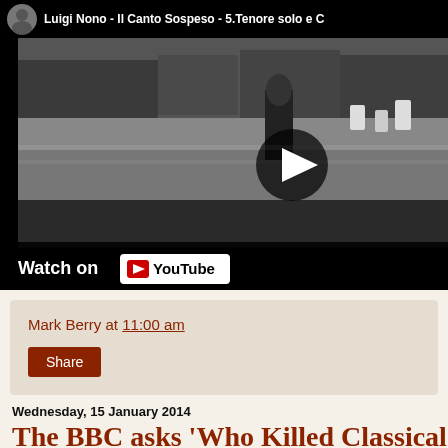[Figure (screenshot): YouTube video embed showing Luigi Nono - Il Canto Sospeso - 5.Tenore solo e Coro, with a black and white historical photograph as thumbnail, showing a person near rubble or graves. A play button is visible in the center-right area. Watch on YouTube bar at bottom.]
Mark Berry at 11:00 am
Share
Wednesday, 15 January 2014
The BBC asks 'Who Killed Classical